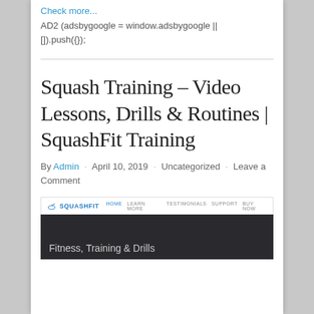Check more...
AD2 (adsbygoogle = window.adsbygoogle || []).push({});
Squash Training – Video Lessons, Drills & Routines | SquashFit Training
By Admin · April 10, 2019 · Uncategorized · Leave a Comment
[Figure (screenshot): Screenshot of SquashFit Training website showing navigation bar with HOME, LEARN MORE, TESTIMONIALS, SUPPORT, BUY NOW links and a dark hero section with text 'Fitness, Training & Drills']